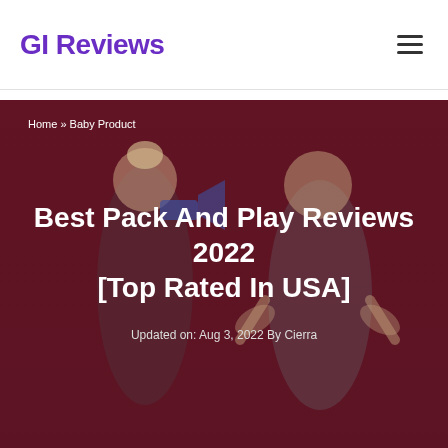GI Reviews
Home » Baby Product
Best Pack And Play Reviews 2022 [Top Rated In USA]
Updated on: Aug 3, 2022 By Cierra